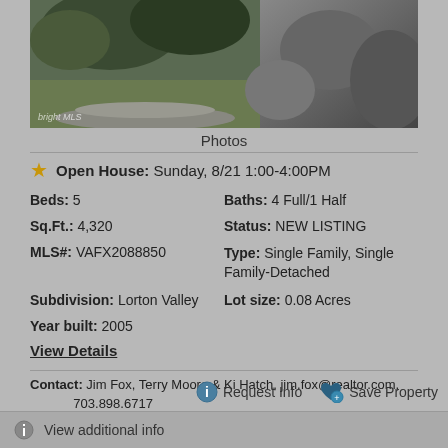[Figure (photo): Exterior landscaping photo of a residential property showing green grass and stone/rock elements]
Photos
★ Open House: Sunday, 8/21 1:00-4:00PM
Beds: 5
Baths: 4 Full/1 Half
Sq.Ft.: 4,320
Status: NEW LISTING
MLS#: VAFX2088850
Type: Single Family, Single Family-Detached
Subdivision: Lorton Valley
Lot size: 0.08 Acres
Year built: 2005
View Details
Contact: Jim Fox, Terry Moore & Ki Hatch, jim.fox@realtor.com, 703.898.6717
Courtesy: Coldwell Banker Realty
Request Info
Save Property
View additional info